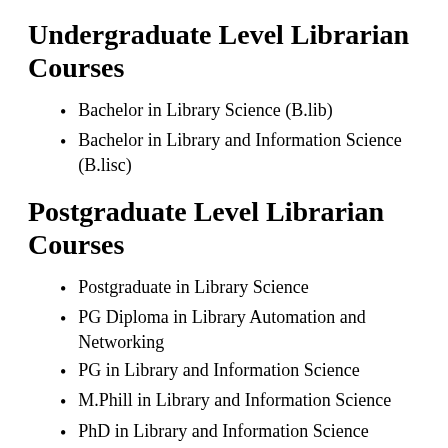Undergraduate Level Librarian Courses
Bachelor in Library Science (B.lib)
Bachelor in Library and Information Science (B.lisc)
Postgraduate Level Librarian Courses
Postgraduate in Library Science
PG Diploma in Library Automation and Networking
PG in Library and Information Science
M.Phill in Library and Information Science
PhD in Library and Information Science